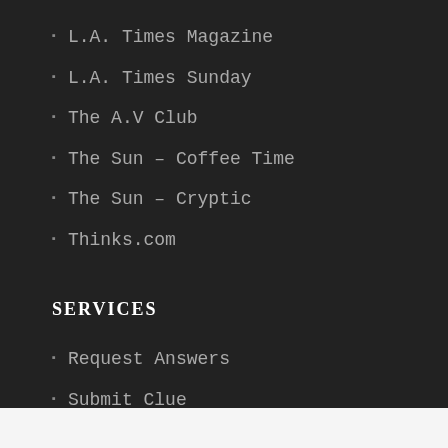L.A. Times Magazine
L.A. Times Sunday
The A.V Club
The Sun – Coffee Time
The Sun – Cryptic
Thinks.com
SERVICES
Request Answers
Submit Clue